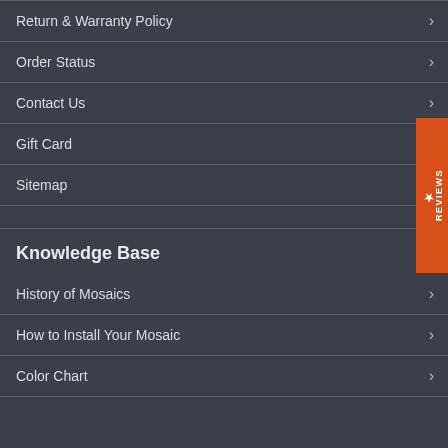Return & Warranty Policy
Order Status
Contact Us
Gift Card
Sitemap
Knowledge Base
History of Mosaics
How to Install Your Mosaic
Color Chart